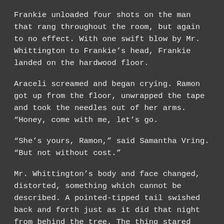Frankie unloaded four shots on the man that rang throughout the room, but again to no effect. With one swift blow by Mr. Whittington to Frankie’s head, Frankie landed on the hardwood floor.
Araceli screamed and began crying. Ramon got up from the floor, unwrapped the tape and took the needles out of her arms. “Honey, come with me, let’s go.
“She’s yours, Ramon,” said Samantha Vring. “But not without cost.”
Mr. Whittington’s body and face changed, distorted, something which cannot be described. A pointed-tipped tail swished back and forth just as it did that night from behind the tree. The thing stared deeply into Araceli’s eyes and gave a large, wide grin. Araceli was transfixed, but only for a second before